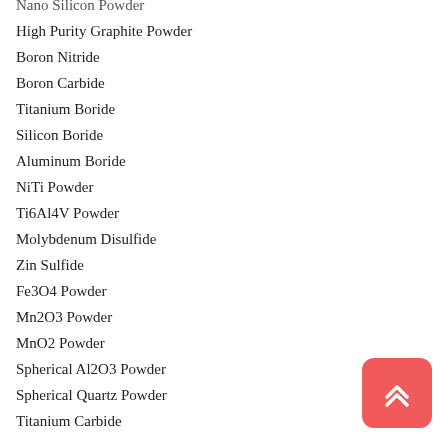Nano Silicon Powder
High Purity Graphite Powder
Boron Nitride
Boron Carbide
Titanium Boride
Silicon Boride
Aluminum Boride
NiTi Powder
Ti6Al4V Powder
Molybdenum Disulfide
Zin Sulfide
Fe3O4 Powder
Mn2O3 Powder
MnO2 Powder
Spherical Al2O3 Powder
Spherical Quartz Powder
Titanium Carbide